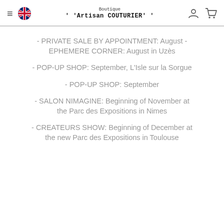Boutique ' 'Artisan COUTURIER' '
- PRIVATE SALE BY APPOINTMENT: August - EPHEMERE CORNER: August in Uzès
- POP-UP SHOP: September, L'Isle sur la Sorgue
- POP-UP SHOP: September
- SALON NIMAGINE: Beginning of November at the Parc des Expositions in Nimes
- CREATEURS SHOW: Beginning of December at the new Parc des Expositions in Toulouse